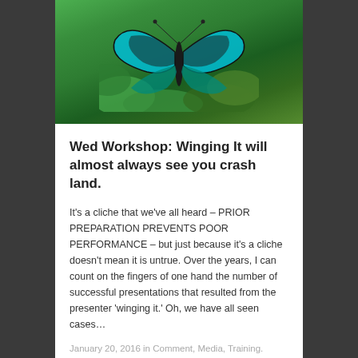[Figure (photo): A teal and black butterfly with iridescent wings resting on green leaves]
Wed Workshop: Winging It will almost always see you crash land.
It's a cliche that we've all heard – PRIOR PREPARATION PREVENTS POOR PERFORMANCE – but just because it's a cliche doesn't mean it is untrue. Over the years, I can count on the fingers of one hand the number of successful presentations that resulted from the presenter 'winging it.' Oh, we have all seen cases…
January 20, 2016 in Comment, Media, Training.